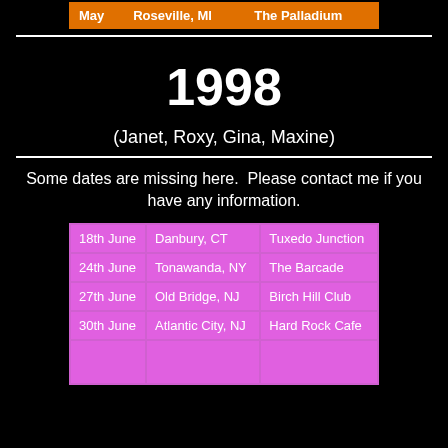| Month | Location | Venue |
| --- | --- | --- |
| May | Roseville, MI | The Palladium |
1998
(Janet, Roxy, Gina, Maxine)
Some dates are missing here.  Please contact me if you have any information.
| Date | Location | Venue |
| --- | --- | --- |
| 18th June | Danbury, CT | Tuxedo Junction |
| 24th June | Tonawanda, NY | The Barcade |
| 27th June | Old Bridge, NJ | Birch Hill Club |
| 30th June | Atlantic City, NJ | Hard Rock Cafe |